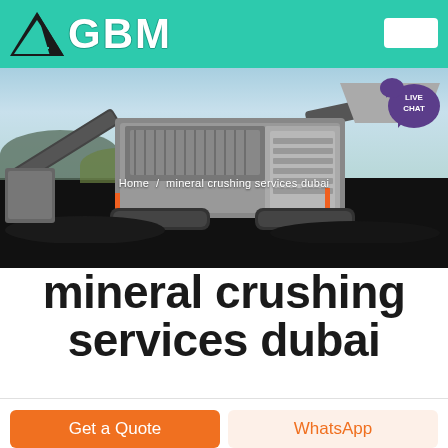GBM
[Figure (photo): A large industrial mineral crushing and screening machine photographed outdoors on a mining site, with piles of black mineral/coal in the foreground and a blue sky background. Breadcrumb navigation shows: Home / mineral crushing services dubai]
Home / mineral crushing services dubai
mineral crushing services dubai
Get a Quote
WhatsApp